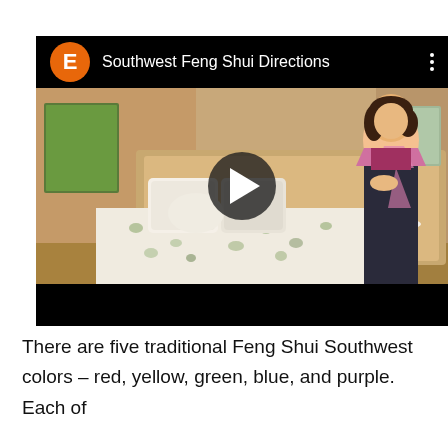[Figure (screenshot): YouTube video thumbnail showing a bedroom scene with a woman in a pink cardigan standing in front of a bed with floral bedding. The video is titled 'Southwest Feng Shui Directions' with an orange channel icon labeled 'E'. A play button is centered on the video. There is a black top bar and bottom bar.]
There are five traditional Feng Shui Southwest colors – red, yellow, green, blue, and purple. Each of